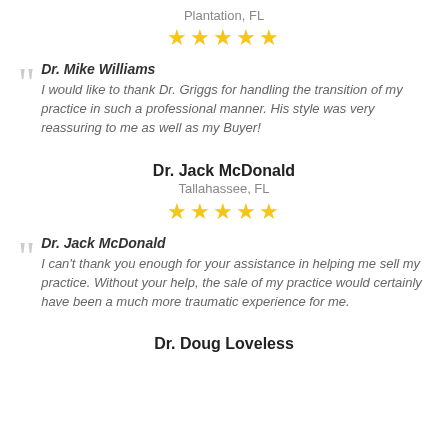Plantation, FL
[Figure (other): 5 gold stars rating]
Dr. Mike Williams
I would like to thank Dr. Griggs for handling the transition of my practice in such a professional manner. His style was very reassuring to me as well as my Buyer!
Dr. Jack McDonald
Tallahassee, FL
[Figure (other): 5 gold stars rating]
Dr. Jack McDonald
I can't thank you enough for your assistance in helping me sell my practice. Without your help, the sale of my practice would certainly have been a much more traumatic experience for me.
Dr. Doug Loveless